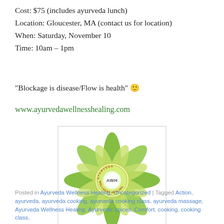Cost: $75 (includes ayurveda lunch)
Location: Gloucester, MA (contact us for location)
When: Saturday, November 10
Time: 10am – 1pm
“Blockage is disease/Flow is health” 🙂
www.ayurvedawellnesshealing.com
[Figure (logo): Ayurveda Wellness Healing logo — green flower/lotus mandala with AWH initials in center circle and text reading AYURVEDA WELLNESS HEALING around the circle]
Posted in Ayurveda Wellness Healing, Uncategorized | Tagged Action, ayurveda, ayurveda cooking, ayurveda cooking class, ayurveda massage, Ayurveda Wellness Healing, Ayurvedic spices, Comfort, cooking, cooking class,